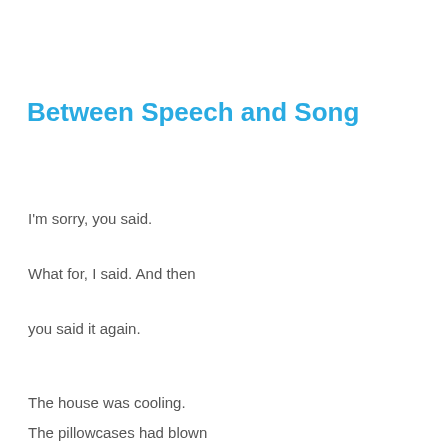Between Speech and Song
I'm sorry, you said.
What for, I said. And then
you said it again.
The house was cooling.
The pillowcases had blown